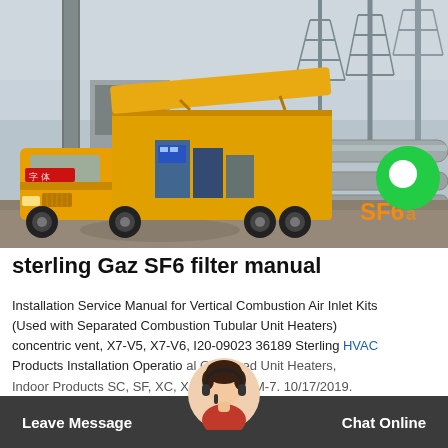[Figure (photo): A yellow ISUZU truck with an open utility body/container parked at an industrial facility with metal towers and pipes in the background. SF6 watermark text visible in orange at bottom right of image.]
sterling Gaz SF6 filter manual
Installation Service Manual for Vertical Combustion Air Inlet Kits (Used with Separated Combustion Tubular Unit Heaters) concentric vent, X7-V5, X7-V6, I20-09023 36189 Sterling HVAC Products Installation Operation al Gas Fired Unit Heaters, Indoor Products SC, SF, XC, XF VCAK-IOM-7. 10/17/2019.